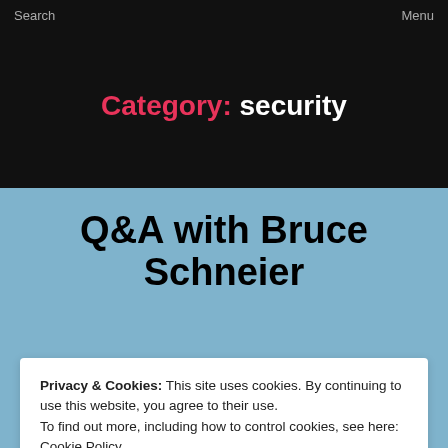Search    Menu
Category: security
Q&A with Bruce Schneier
Privacy & Cookies: This site uses cookies. By continuing to use this website, you agree to their use.
To find out more, including how to control cookies, see here: Cookie Policy
CLOSE AND ACCEPT